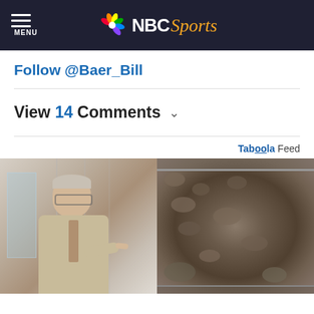NBC Sports — MENU
Follow @Baer_Bill
View 14 Comments
Taboola Feed
[Figure (photo): Split image: left side shows an older man with glasses in a suit pointing, standing in a corridor; right side shows food (ground meat) cooking in a frying pan.]